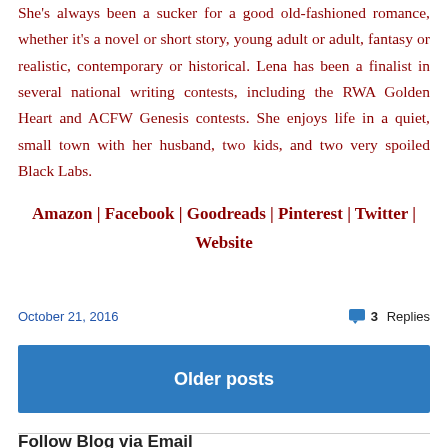She's always been a sucker for a good old-fashioned romance, whether it's a novel or short story, young adult or adult, fantasy or realistic, contemporary or historical. Lena has been a finalist in several national writing contests, including the RWA Golden Heart and ACFW Genesis contests. She enjoys life in a quiet, small town with her husband, two kids, and two very spoiled Black Labs.
Amazon | Facebook | Goodreads | Pinterest | Twitter | Website
October 21, 2016
3 Replies
Older posts
Follow Blog via Email